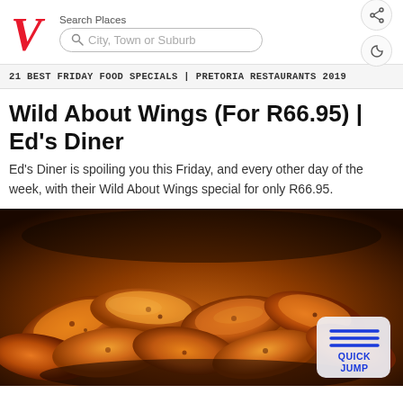[Figure (screenshot): Website header with red V logo, Search Places label, City/Town or Suburb search box, share icon and dark mode icon]
21 BEST FRIDAY FOOD SPECIALS | PRETORIA RESTAURANTS 2019
Wild About Wings (For R66.95) | Ed's Diner
Ed's Diner is spoiling you this Friday, and every other day of the week, with their Wild About Wings special for only R66.95.
[Figure (photo): Close-up photo of golden-brown crispy chicken wings in a dark cast-iron pan, with a Quick Jump button overlay in the bottom right corner]